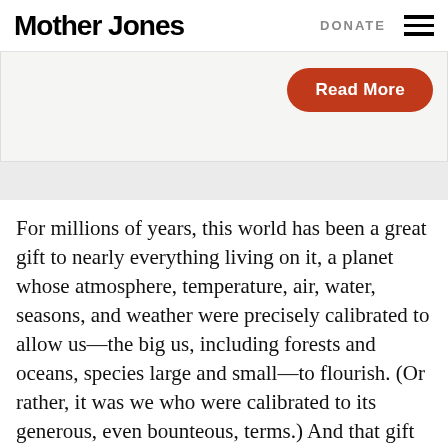Mother Jones | DONATE
[Figure (other): Read More button in orange/red rounded rectangle on a light gray promotional box]
For millions of years, this world has been a great gift to nearly everything living on it, a planet whose atmosphere, temperature, air, water, seasons, and weather were precisely calibrated to allow us—the big us, including forests and oceans, species large and small—to flourish. (Or rather, it was we who were calibrated to its generous, even bounteous, terms.) And that gift is now being destroyed for the benefit of a few members of a single species.